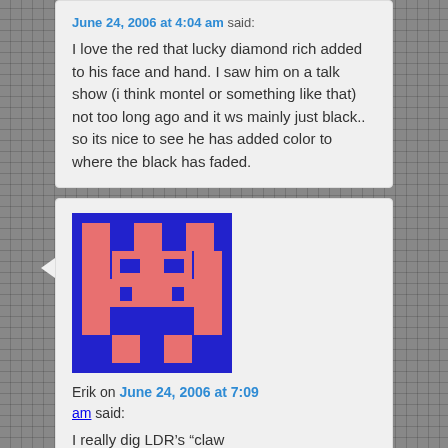June 24, 2006 at 4:04 am said: I love the red that lucky diamond rich added to his face and hand. I saw him on a talk show (i think montel or something like that) not too long ago and it ws mainly just black.. so its nice to see he has added color to where the black has faded.
[Figure (illustration): Pixel art avatar in blue and salmon/pink colors showing a stylized face/character made of pixel blocks]
Erik on June 24, 2006 at 7:09 am said: I really dig LDR's “claw